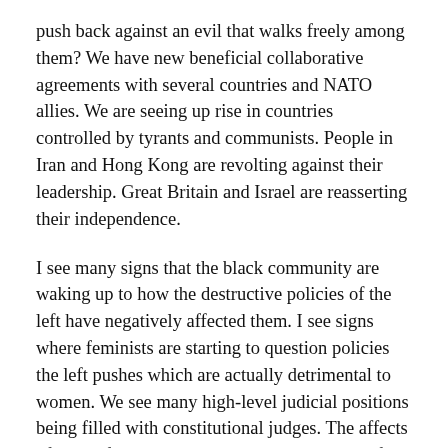push back against an evil that walks freely among them? We have new beneficial collaborative agreements with several countries and NATO allies. We are seeing up rise in countries controlled by tyrants and communists. People in Iran and Hong Kong are revolting against their leadership. Great Britain and Israel are reasserting their independence.
I see many signs that the black community are waking up to how the destructive policies of the left have negatively affected them. I see signs where feminists are starting to question policies the left pushes which are actually detrimental to women. We see many high-level judicial positions being filled with constitutional judges. The affects of the shift in that arena will take hold and be felt for some time to come. Strangely we’re even seeing some Republican politicians starting to grow some backbone and find their voice instead of always cowering when called out with Alinsky’s rules. There appears to be a shift in the voting